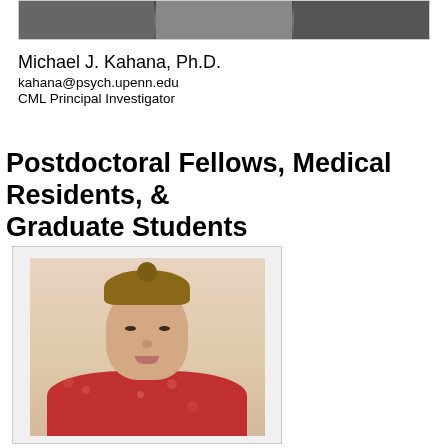[Figure (photo): Cropped top portion of a group photo showing multiple people]
Michael J. Kahana, Ph.D.
kahana@psych.upenn.edu
CML Principal Investigator
Postdoctoral Fellows, Medical Residents, & Graduate Students
[Figure (photo): Portrait photo of a young woman with blonde hair in a bun wearing a red floral top]